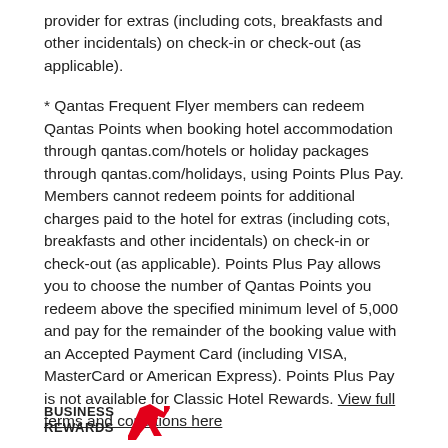provider for extras (including cots, breakfasts and other incidentals) on check-in or check-out (as applicable).
* Qantas Frequent Flyer members can redeem Qantas Points when booking hotel accommodation through qantas.com/hotels or holiday packages through qantas.com/holidays, using Points Plus Pay. Members cannot redeem points for additional charges paid to the hotel for extras (including cots, breakfasts and other incidentals) on check-in or check-out (as applicable). Points Plus Pay allows you to choose the number of Qantas Points you redeem above the specified minimum level of 5,000 and pay for the remainder of the booking value with an Accepted Payment Card (including VISA, MasterCard or American Express). Points Plus Pay is not available for Classic Hotel Rewards. View full terms and conditions here
~ Saving is off the hotel's generally available rate for the same property, room type, days, inclusions and conditions.
[Figure (logo): Qantas Business Rewards logo with kangaroo icon]